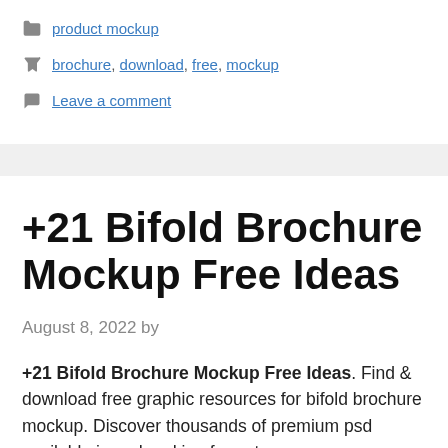product mockup
brochure, download, free, mockup
Leave a comment
+21 Bifold Brochure Mockup Free Ideas
August 8, 2022 by
+21 Bifold Brochure Mockup Free Ideas. Find & download free graphic resources for bifold brochure mockup. Discover thousands of premium psd available in psd and jpg formats.